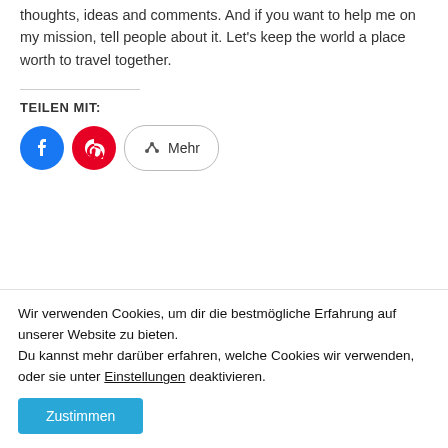And visit me on Pinterest and Instagram. I can't wait to hear your thoughts, ideas and comments. And if you want to help me on my mission, tell people about it. Let's keep the world a place worth to travel together.
TEILEN MIT:
[Figure (other): Social share buttons: Facebook (blue circle), Pinterest (red circle), and Mehr (More) button with share icon]
Schreibe einen Kommentar
Wir verwenden Cookies, um dir die bestmögliche Erfahrung auf unserer Website zu bieten.
Du kannst mehr darüber erfahren, welche Cookies wir verwenden, oder sie unter Einstellungen deaktivieren.
Zustimmen